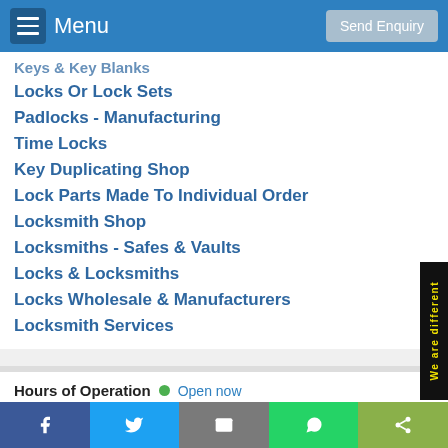Menu | Send Enquiry
Keys & Key Blanks
Locks Or Lock Sets
Padlocks - Manufacturing
Time Locks
Key Duplicating Shop
Lock Parts Made To Individual Order
Locksmith Shop
Locksmiths - Safes & Vaults
Locks & Locksmiths
Locks Wholesale & Manufacturers
Locksmith Services
Hours of Operation • Open now
Monday - 24 Hours
Tuesday - 24 Hours
Wednesday - 24 Hours
We are different